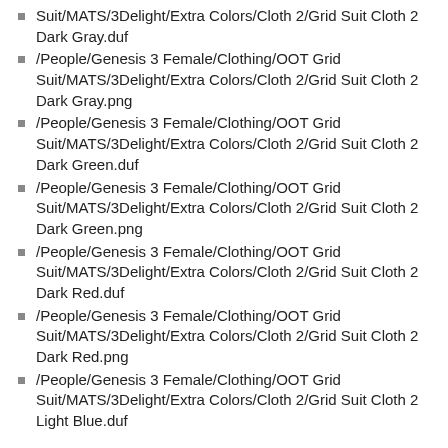Suit/MATS/3Delight/Extra Colors/Cloth 2/Grid Suit Cloth 2 Dark Gray.duf
/People/Genesis 3 Female/Clothing/OOT Grid Suit/MATS/3Delight/Extra Colors/Cloth 2/Grid Suit Cloth 2 Dark Gray.png
/People/Genesis 3 Female/Clothing/OOT Grid Suit/MATS/3Delight/Extra Colors/Cloth 2/Grid Suit Cloth 2 Dark Green.duf
/People/Genesis 3 Female/Clothing/OOT Grid Suit/MATS/3Delight/Extra Colors/Cloth 2/Grid Suit Cloth 2 Dark Green.png
/People/Genesis 3 Female/Clothing/OOT Grid Suit/MATS/3Delight/Extra Colors/Cloth 2/Grid Suit Cloth 2 Dark Red.duf
/People/Genesis 3 Female/Clothing/OOT Grid Suit/MATS/3Delight/Extra Colors/Cloth 2/Grid Suit Cloth 2 Dark Red.png
/People/Genesis 3 Female/Clothing/OOT Grid Suit/MATS/3Delight/Extra Colors/Cloth 2/Grid Suit Cloth 2 Light Blue.duf